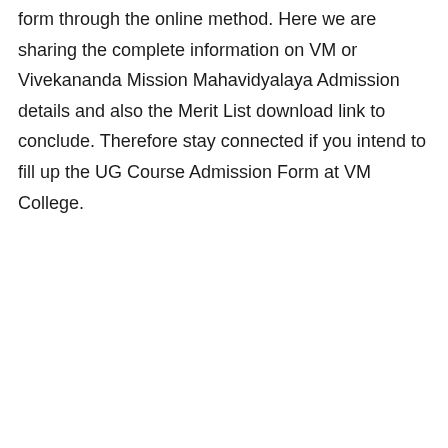form through the online method. Here we are sharing the complete information on VM or Vivekananda Mission Mahavidyalaya Admission details and also the Merit List download link to conclude. Therefore stay connected if you intend to fill up the UG Course Admission Form at VM College.